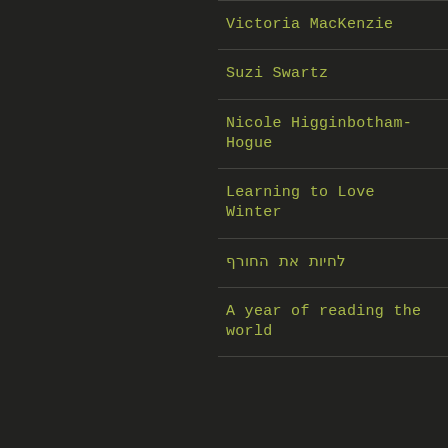Victoria MacKenzie
Suzi Swartz
Nicole Higginbotham-Hogue
Learning to Love Winter
לחיות את החורף
A year of reading the world